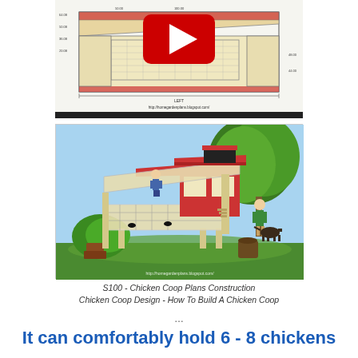[Figure (engineering-diagram): Technical engineering drawing/blueprint of a chicken coop left side view with dimensions, overlaid with a YouTube play button icon]
[Figure (illustration): 3D rendered illustration of a large red and cream chicken coop with run, person on top, person and dog standing beside it, in a garden setting]
S100 - Chicken Coop Plans Construction Chicken Coop Design - How To Build A Chicken Coop ...
It can comfortably hold 6 - 8 chickens